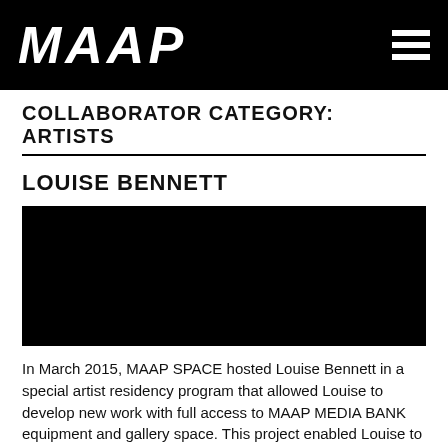MAAP
COLLABORATOR CATEGORY: ARTISTS
LOUISE BENNETT
[Figure (photo): Black rectangular image placeholder for Louise Bennett artist profile]
In March 2015, MAAP SPACE hosted Louise Bennett in a special artist residency program that allowed Louise to develop new work with full access to MAAP MEDIA BANK equipment and gallery space. This project enabled Louise to process and experiment with raw media materials collected in Indonesia along with other recordings… READ MORE